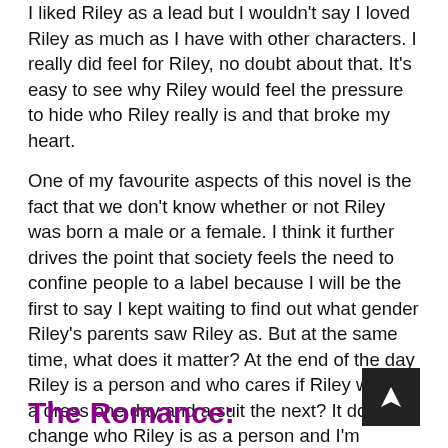I liked Riley as a lead but I wouldn't say I loved Riley as much as I have with other characters. I really did feel for Riley, no doubt about that. It's easy to see why Riley would feel the pressure to hide who Riley really is and that broke my heart.
One of my favourite aspects of this novel is the fact that we don't know whether or not Riley was born a male or a female. I think it further drives the point that society feels the need to confine people to a label because I will be the first to say I kept waiting to find out what gender Riley's parents saw Riley as. But at the same time, what does it matter? At the end of the day Riley is a person and who cares if Riley wears a dress one day and a suit the next? It doesn't change who Riley is as a person and I'm forever grateful that Riley reminded me of that in this book.
The Romance: